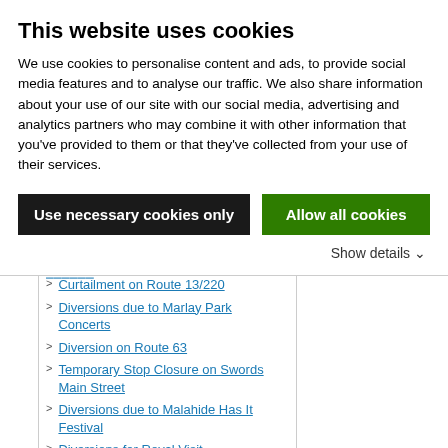This website uses cookies
We use cookies to personalise content and ads, to provide social media features and to analyse our traffic. We also share information about your use of our site with our social media, advertising and analytics partners who may combine it with other information that you've provided to them or that they've collected from your use of their services.
Use necessary cookies only
Allow all cookies
Show details
Curtailment on Route 13/220
Diversions due to Marlay Park Concerts
Diversion on Route 63
Temporary Stop Closure on Swords Main Street
Diversions due to Malahide Has It Festival
Diversions for Royal Visit
Diversion due to Kildare Street Closure
Temporary Bus Stop Closures due to Irish Runner 10 Mile
Diversions due to